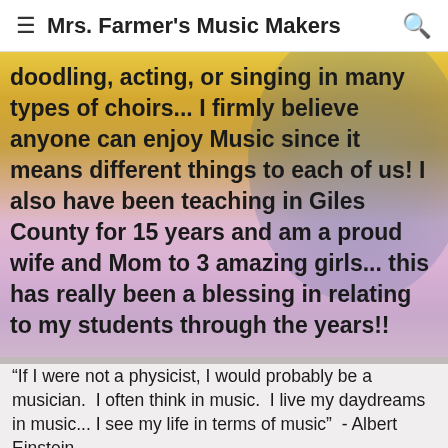Mrs. Farmer's Music Makers
doodling, acting, or singing in many types of choirs...  I firmly believe anyone can enjoy Music since it means different things to each of us!  I also have been teaching in Giles County for 15 years and am a proud wife and Mom to 3 amazing girls... this has really been a blessing in relating to my students through the years!!
"If I were not a physicist, I would probably be a musician.  I often think in music.  I live my daydreams in music... I see my life in terms of music"  - Albert Einstein